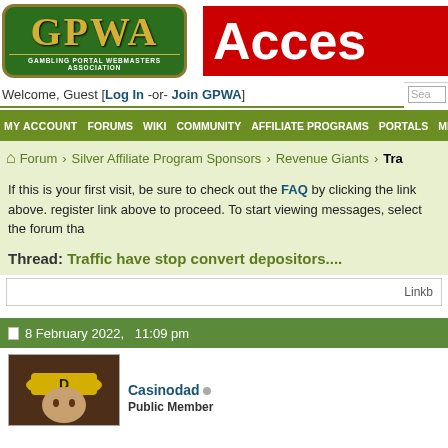[Figure (logo): GPWA - Gambling Portal Webmasters Association logo, green background with gold letters]
Acces
Welcome, Guest  [Log In -or- Join GPWA]
MY ACCOUNT   FORUMS   WIKI   COMMUNITY   AFFILIATE PROGRAMS   PORTALS   ME
Forum › Silver Affiliate Program Sponsors › Revenue Giants › Tra
If this is your first visit, be sure to check out the FAQ by clicking the link above. register link above to proceed. To start viewing messages, select the forum tha
Thread: Traffic have stop convert depositors....
Linkb
8 February 2022,   11:09 pm
Casinodad ◌
Public Member